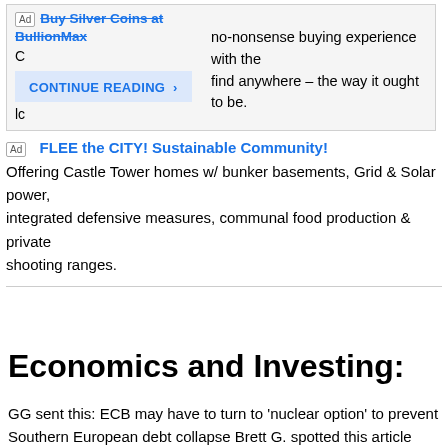[Ad] Buy Silver Coins at BullionMax — CONTINUE READING › — no-nonsense buying experience with the lowest prices you'll find anywhere – the way it ought to be.
[Ad] FLEE the CITY! Sustainable Community! Offering Castle Tower homes w/ bunker basements, Grid & Solar power, integrated defensive measures, communal food production & private shooting ranges.
Economics and Investing:
GG sent this: ECB may have to turn to 'nuclear option' to prevent Southern European debt collapse Brett G. spotted this article over at NewsMax: U.S. Debt to Hit $20 Trillion, Financial Times Warns Greek borrowing costs hit high as Germany fuels uncertainty over aid. (Thanks to R.I.P. for the link.) RBS sent this piece about foreclosed real estate: Flipping houses is back in South Los Angeles Europe debt crisis spreads to Portugal (Standard & Poors downgraded